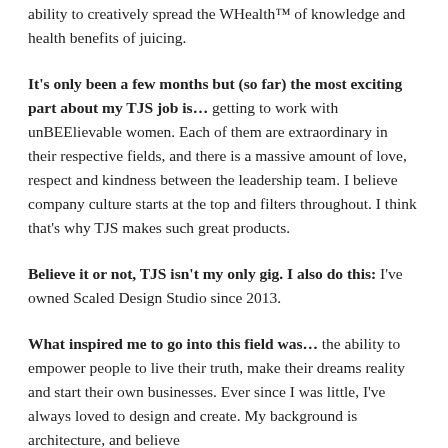ability to creatively spread the WHealth™ of knowledge and health benefits of juicing.
It's only been a few months but (so far) the most exciting part about my TJS job is… getting to work with unBEElievable women. Each of them are extraordinary in their respective fields, and there is a massive amount of love, respect and kindness between the leadership team. I believe company culture starts at the top and filters throughout. I think that's why TJS makes such great products.
Believe it or not, TJS isn't my only gig. I also do this: I've owned Scaled Design Studio since 2013.
What inspired me to go into this field was… the ability to empower people to live their truth, make their dreams reality and start their own businesses. Ever since I was little, I've always loved to design and create. My background is architecture, and believe